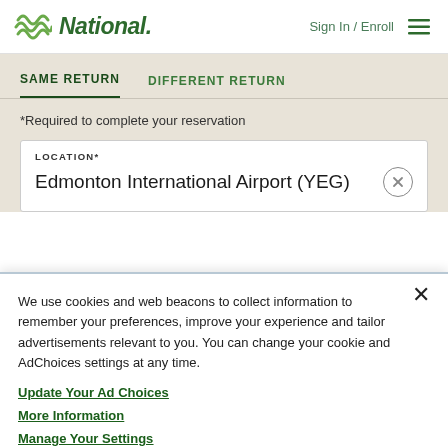National — Sign In / Enroll
SAME RETURN   DIFFERENT RETURN
*Required to complete your reservation
LOCATION*
Edmonton International Airport (YEG)
We use cookies and web beacons to collect information to remember your preferences, improve your experience and tailor advertisements relevant to you. You can change your cookie and AdChoices settings at any time.
Update Your Ad Choices
More Information
Manage Your Settings